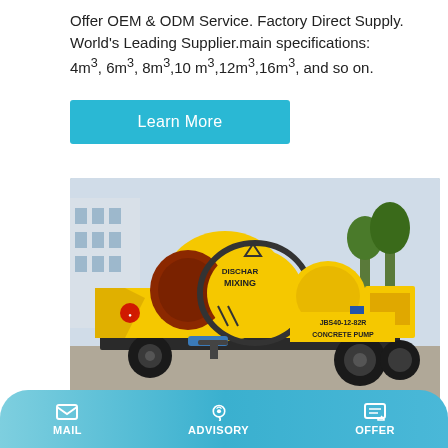Offer OEM & ODM Service. Factory Direct Supply. World's Leading Supplier.main specifications: 4m³, 6m³, 8m³,10 m³,12m³,16m³, and so on.
Learn More
[Figure (photo): Yellow concrete mixer pump machine labeled 'DISCHAR MIXING' and 'JBS40-12-82R CONCRETE PUMP' on a trailer, parked outdoors]
Asphalt Plant For Sale...
MAIL | ADVISORY | OFFER